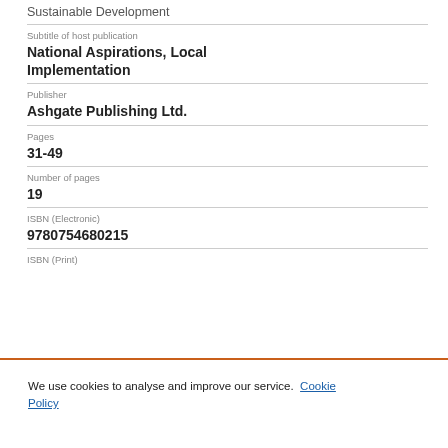Sustainable Development
Subtitle of host publication
National Aspirations, Local Implementation
Publisher
Ashgate Publishing Ltd.
Pages
31-49
Number of pages
19
ISBN (Electronic)
9780754680215
ISBN (Print)
We use cookies to analyse and improve our service. Cookie Policy